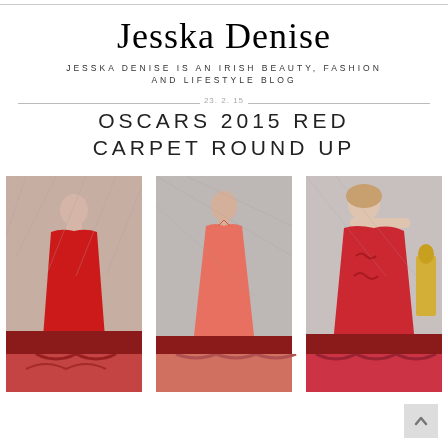Jesska Denise
JESSKA DENISE IS AN IRISH BEAUTY, FASHION AND LIFESTYLE BLOG
OSCARS 2015 RED CARPET ROUND UP
[Figure (photo): Three women in red/coral gowns on the Oscars 2015 red carpet. Left: woman in red sleeveless gown. Center: woman in coral/salmon halter gown. Right: woman in red ruffled gown.]
[Figure (photo): Bottom strip showing partial views of red carpet looks]